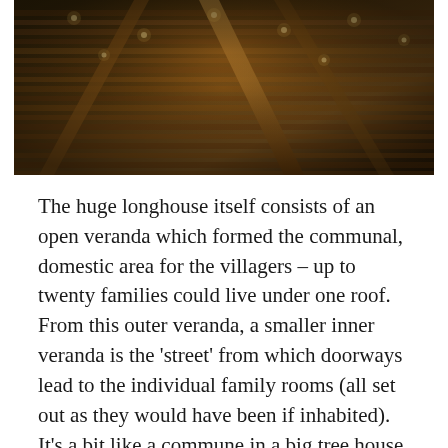[Figure (photo): Interior photograph of a longhouse ceiling/roof structure showing wooden beams, bamboo slats, and warm ambient lighting from small lights along the rafters.]
The huge longhouse itself consists of an open veranda which formed the communal, domestic area for the villagers – up to twenty families could live under one roof. From this outer veranda, a smaller inner veranda is the 'street' from which doorways lead to the individual family rooms (all set out as they would have been if inhabited). It's a bit like a commune in a big tree house. Most of the communal areas had people demonstrating various traditional craft-making skills.